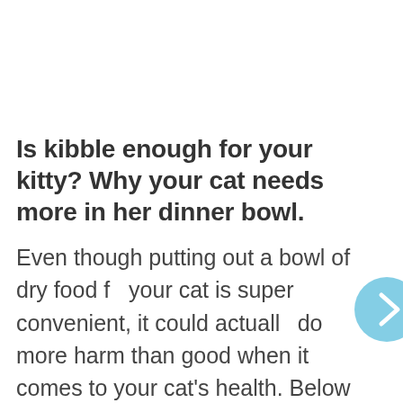Is kibble enough for your kitty? Why your cat needs more in her dinner bowl.
Even though putting out a bowl of dry food for your cat is super convenient, it could actually do more harm than good when it comes to your cat's health. Below are a few things you should consider before choosing to feed your cat an exclusively dry food diet.
[Figure (other): Light blue circular navigation arrow button pointing right, partially visible at the right edge of the page]